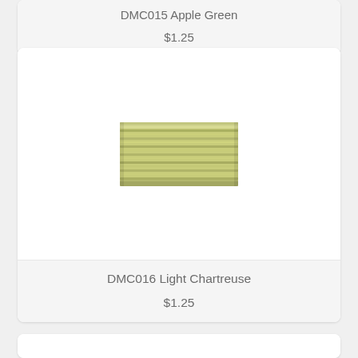DMC015 Apple Green
$1.25
[Figure (photo): Skein of light chartreuse embroidery floss thread (DMC016), shown as a small rectangular bundle of yellowish-green threads]
DMC016 Light Chartreuse
$1.25